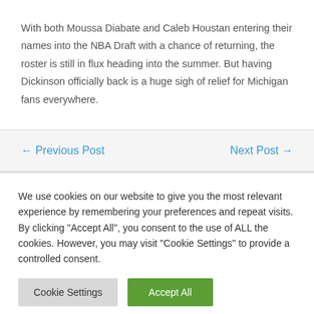With both Moussa Diabate and Caleb Houstan entering their names into the NBA Draft with a chance of returning, the roster is still in flux heading into the summer. But having Dickinson officially back is a huge sigh of relief for Michigan fans everywhere.
← Previous Post
Next Post →
We use cookies on our website to give you the most relevant experience by remembering your preferences and repeat visits. By clicking "Accept All", you consent to the use of ALL the cookies. However, you may visit "Cookie Settings" to provide a controlled consent.
Cookie Settings
Accept All